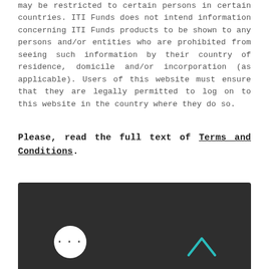may be restricted to certain persons in certain countries. ITI Funds does not intend information concerning ITI Funds products to be shown to any persons and/or entities who are prohibited from seeing such information by their country of residence, domicile and/or incorporation (as applicable). Users of this website must ensure that they are legally permitted to log on to this website in the country where they do so.
Please, read the full text of Terms and Conditions.
[Figure (logo): ITI Funds logo with teal and white bar-chart style icon on dark background, with text 'ITI FUNDS']
ITI Funds | info@itifunds.com | Tel: +44 1481 713921